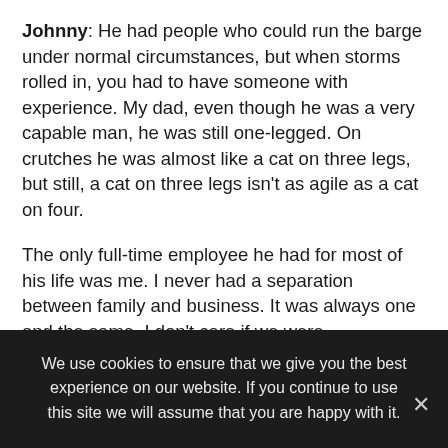Johnny: He had people who could run the barge under normal circumstances, but when storms rolled in, you had to have someone with experience. My dad, even though he was a very capable man, he was still one-legged. On crutches he was almost like a cat on three legs, but still, a cat on three legs isn't as agile as a cat on four.
The only full-time employee he had for most of his life was me. I never had a separation between family and business. It was always one and the same. I don't care if we were
We use cookies to ensure that we give you the best experience on our website. If you continue to use this site we will assume that you are happy with it.